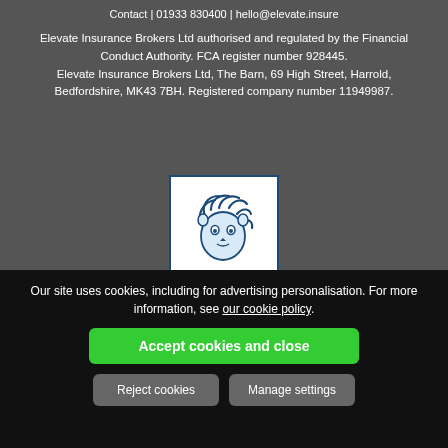Contact | 01933 830400 | hello@elevate.insure
Elevate Insurance Brokers Ltd authorised and regulated by the Financial Conduct Authority. FCA register number 928445. Elevate Insurance Brokers Ltd, The Barn, 69 High Street, Harrold, Bedfordshire, MK43 7BH. Registered company number 11949987.
[Figure (logo): British Insurance Brokers' Association (BIBA) lion logo in blue and white with text 'British Insurance']
Our site uses cookies, including for advertising personalisation. For more information, see our cookie policy.
Accept cookies and close
Reject cookies
Manage settings
Website design | publication — by Iceeze